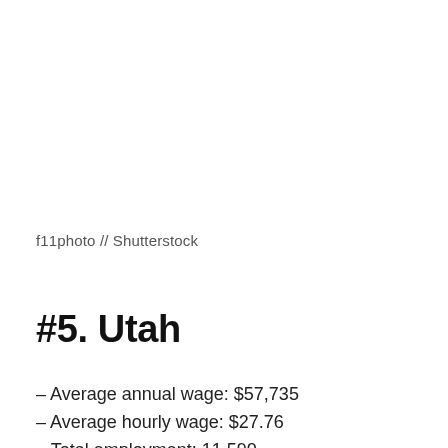f11photo // Shutterstock
#5. Utah
– Average annual wage: $57,735
– Average hourly wage: $27.76
– Total employment: 11,590